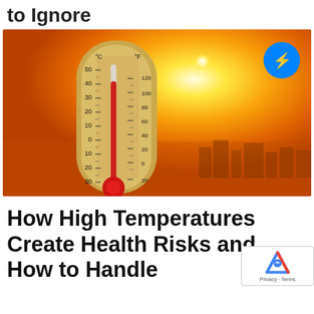to Ignore
[Figure (photo): Thermometer showing very high temperature (around 40°C / 120°F) against a blazing hot orange sky with bright sun and a hazy cityscape in the background. A Facebook Messenger icon appears in the top-right corner of the image.]
How High Temperatures Create Health Risks and How to Handle